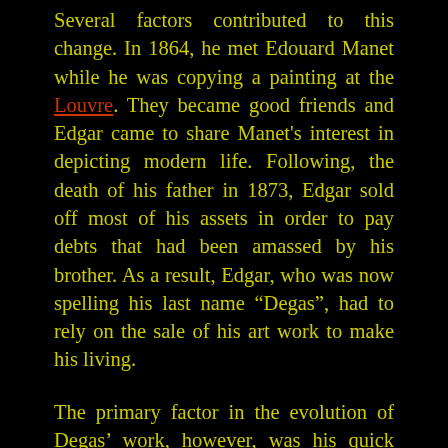Several factors contributed to this change. In 1864, he met Edouard Manet while he was copying a painting at the Louvre. They became good friends and Edgar came to share Manet's interest in depicting modern life. Following, the death of his father in 1873, Edgar sold off most of his assets in order to pay debts that had been amassed by his brother. As a result, Edgar, who was now spelling his last name “Degas”, had to rely on the sale of his art work to make his living.

The primary factor in the evolution of Degas’ work, however, was his quick mind. While he always retained his admiration for the great painters of the past, Degas was continually innovating.    Diverse inspirations such as Japanese art and the new technology of photography influenced his compositions. He was interested in experimenting with different mediums, branching into photography, sculpture and, most particularly, pastels, which he applied in complex layers and textures. Although